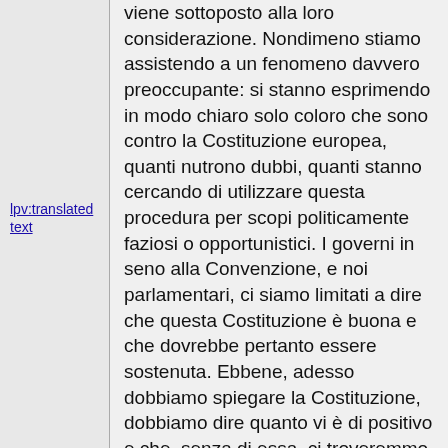lpv:translated text
viene sottoposto alla loro considerazione. Nondimeno stiamo assistendo a un fenomeno davvero preoccupante: si stanno esprimendo in modo chiaro solo coloro che sono contro la Costituzione europea, quanti nutrono dubbi, quanti stanno cercando di utilizzare questa procedura per scopi politicamente faziosi o opportunistici. I governi in seno alla Convenzione, e noi parlamentari, ci siamo limitati a dire che questa Costituzione è buona e che dovrebbe pertanto essere sostenuta. Ebbene, adesso dobbiamo spiegare la Costituzione, dobbiamo dire quanto vi è di positivo e che, senza di essa, ci troveremmo bloccati nella paralisi rappresentata dal Trattato di Nizza. Dobbiamo adottare questa linea a livello europeo. Signor Presidente, dobbiamo